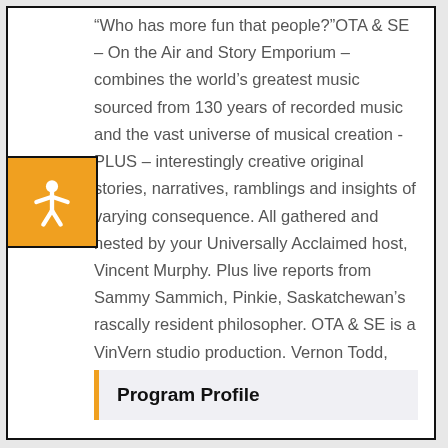“Who has more fun that people?”OTA & SE – On the Air and Story Emporium – combines the world’s greatest music sourced from 130 years of recorded music and the vast universe of musical creation -PLUS – interestingly creative original stories, narratives, ramblings and insights of varying consequence. All gathered and nested by your Universally Acclaimed host, Vincent Murphy. Plus live reports from Sammy Sammich, Pinkie, Saskatchewan’s rascally resident philosopher. OTA & SE is a VinVern studio production. Vernon Todd, Executive Producer.
Program Profile